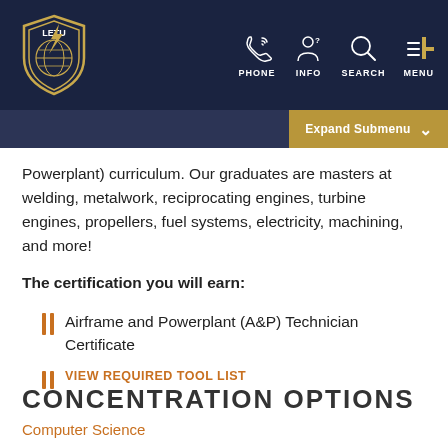LETU logo with PHONE, INFO, SEARCH, MENU navigation
Powerplant) curriculum. Our graduates are masters at welding, metalwork, reciprocating engines, turbine engines, propellers, fuel systems, electricity, machining, and more!
The certification you will earn:
Airframe and Powerplant (A&P) Technician Certificate
VIEW REQUIRED TOOL LIST
CONCENTRATION OPTIONS
Computer Science